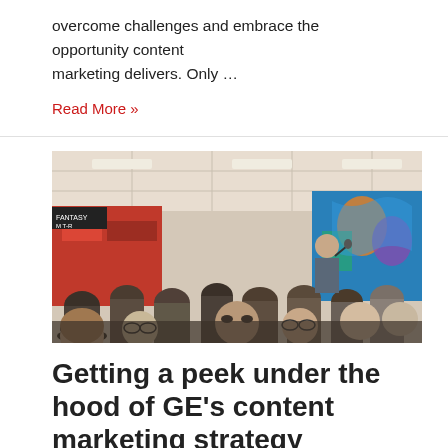overcome challenges and embrace the opportunity content marketing delivers. Only …
Read More »
[Figure (photo): A crowd of people at an indoor event or conference, with a speaker standing and holding a microphone, colorful mural artwork visible in the background.]
Getting a peek under the hood of GE's content marketing strategy
Leave a Comment / Business, Content marketing, Inspiration,